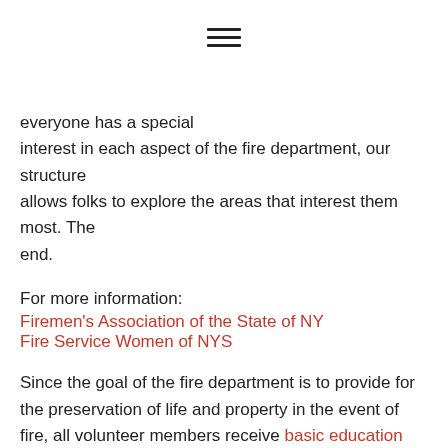[Figure (other): Hamburger menu icon (three horizontal lines)]
everyone has a special interest in each aspect of the fire department, our structure allows folks to explore the areas that interest them most. The end.
For more information:
Firemen's Association of the State of NY
Fire Service Women of NYS
Since the goal of the fire department is to provide for the preservation of life and property in the event of fire, all volunteer members receive basic education and training in fireground operations and safety.
From that starting point, volunteer members can follow many